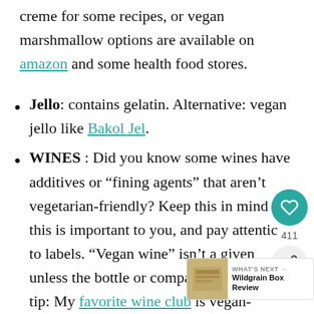creme for some recipes, or vegan marshmallow options are available on amazon and some health food stores.
Jello: contains gelatin. Alternative: vegan jello like Bakol Jel.
WINES : Did you know some wines have additives or “fining agents” that aren’t vegetarian-friendly? Keep this in mind if this is important to you, and pay attention to labels. “Vegan wine” isn’t a given unless the bottle or company say... tip: My favorite wine club is vegan-certified.